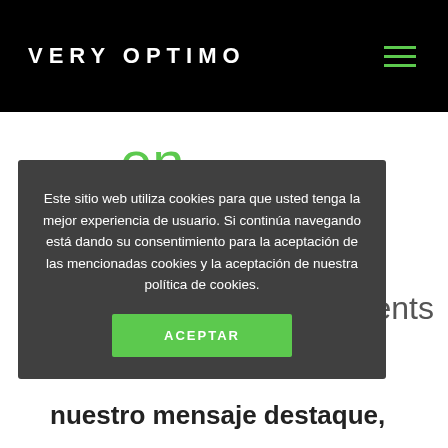VERY OPTIMO
en
Este sitio web utiliza cookies para que usted tenga la mejor experiencia de usuario. Si continúa navegando está dando su consentimiento para la aceptación de las mencionadas cookies y la aceptación de nuestra política de cookies.
ACEPTAR
ents
nuestro mensaje destaque,